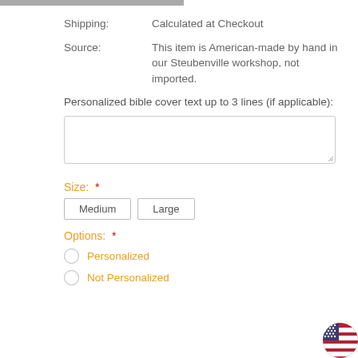Shipping: Calculated at Checkout
Source: This item is American-made by hand in our Steubenville workshop, not imported.
Personalized bible cover text up to 3 lines (if applicable):
Size: *
Medium  Large
Options: *
Personalized
Not Personalized